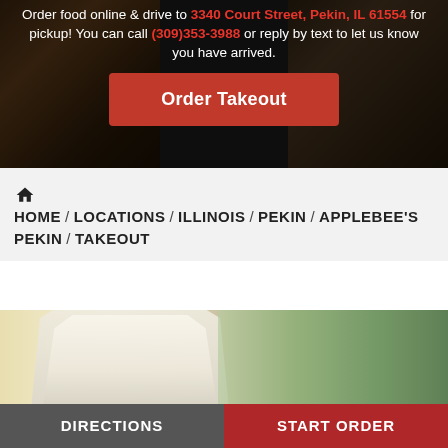Order food online & drive to 3340 Court Street, Pekin, IL 61554 for pickup! You can call (309)353-3988 or reply by text to let us know you have arrived.
[Figure (other): Red 'Order Takeout' button on a dark photo background showing takeout food containers]
HOME / LOCATIONS / ILLINOIS / PEKIN / APPLEBEE'S PEKIN / TAKEOUT
[Figure (photo): Takeout bag photo, outdoor blurred background]
DIRECTIONS
START ORDER